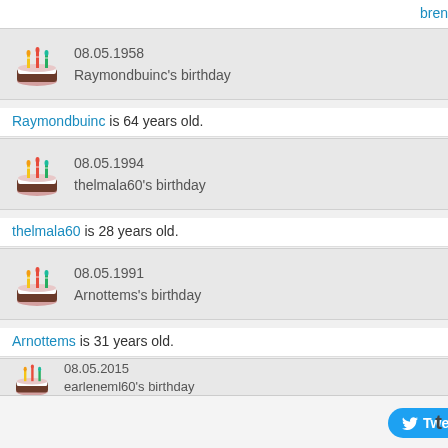brendaou18 is 24 years old.
[Figure (screenshot): Birthday card for Raymondbuinc showing cake icon, date 08.05.1958, and text Raymondbuinc's birthday]
Raymondbuinc is 64 years old.
[Figure (screenshot): Birthday card for thelmala60 showing cake icon, date 08.05.1994, and text thelmala60's birthday]
thelmala60 is 28 years old.
[Figure (screenshot): Birthday card for Arnottems showing cake icon, date 08.05.1991, and text Arnottems's birthday]
Arnottems is 31 years old.
[Figure (screenshot): Birthday card for earleneml60 showing cake icon, date 08.05.2015, and text earleneml60's birthday]
earleneml60 is 7 years old.
[Figure (screenshot): Birthday card for alissaxe16 showing cake icon, date 08.05.1998, and text alissaxe16's birthday]
alissaxe16 is 24 years old.
Tweet + t